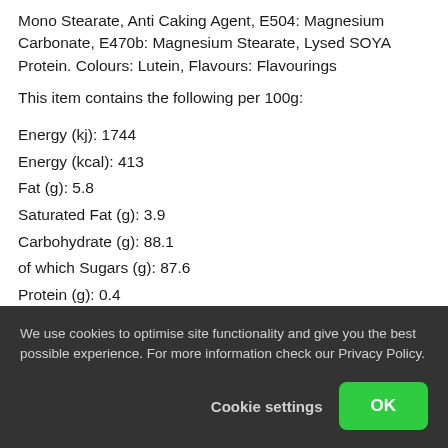Mono Stearate, Anti Caking Agent, E504: Magnesium Carbonate, E470b: Magnesium Stearate, Lysed SOYA Protein. Colours: Lutein, Flavours: Flavourings
This item contains the following per 100g:
Energy (kj): 1744
Energy (kcal): 413
Fat (g): 5.8
Saturated Fat (g): 3.9
Carbohydrate (g): 88.1
of which Sugars (g): 87.6
Protein (g): 0.4
Salt (g): 0.1
Rhubarb and Custard Sweets: The Best Ever!:
We use cookies to optimise site functionality and give you the best possible experience. For more information check our Privacy Policy.